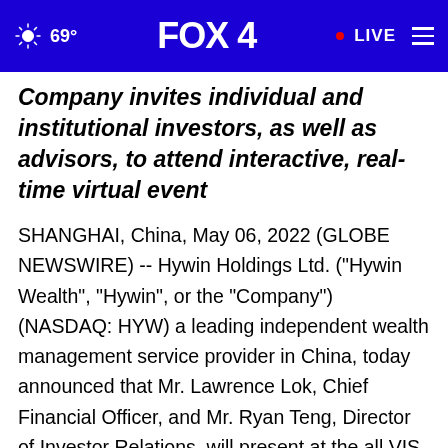FOX 4 | 69° | LIVE
Company invites individual and institutional investors, as well as advisors, to attend interactive, real-time virtual event
SHANGHAI, China, May 06, 2022 (GLOBE NEWSWIRE) -- Hywin Holdings Ltd. ("Hywin Wealth", "Hywin", or the "Company") (NASDAQ: HYW) a leading independent wealth management service provider in China, today announced that Mr. Lawrence Lok, Chief Financial Officer, and Mr. Ryan Teng, Director of Investor Relations, will present at the all VIS...